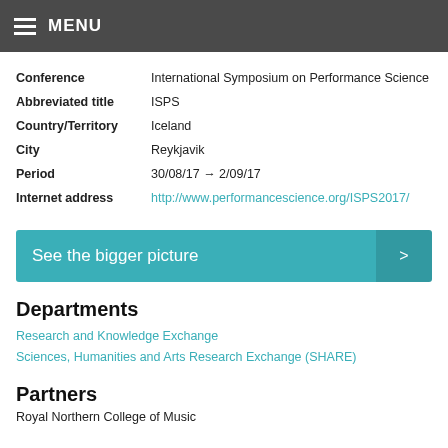MENU
| Field | Value |
| --- | --- |
| Conference | International Symposium on Performance Science |
| Abbreviated title | ISPS |
| Country/Territory | Iceland |
| City | Reykjavik |
| Period | 30/08/17 → 2/09/17 |
| Internet address | http://www.performancescience.org/ISPS2017/ |
[Figure (other): Teal banner reading 'See the bigger picture' with arrow on right]
Departments
Research and Knowledge Exchange
Sciences, Humanities and Arts Research Exchange (SHARE)
Partners
Royal Northern College of Music